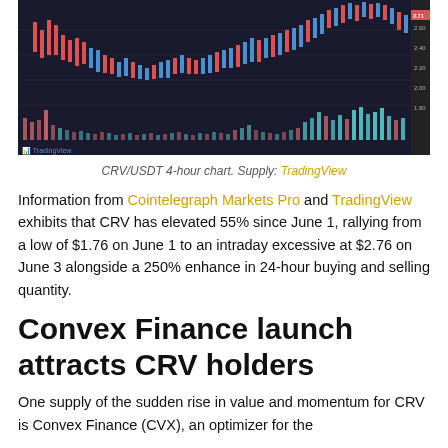[Figure (continuous-plot): CRV/USDT 4-hour candlestick chart showing price movement with red and blue candles and volume bars at the bottom in pink and teal colors. Price rose from a low around $1.76 to a high near $2.76.]
CRV/USDT 4-hour chart. Supply: TradingView
Information from Cointelegraph Markets Pro and TradingView exhibits that CRV has elevated 55% since June 1, rallying from a low of $1.76 on June 1 to an intraday excessive at $2.76 on June 3 alongside a 250% enhance in 24-hour buying and selling quantity.
Convex Finance launch attracts CRV holders
One supply of the sudden rise in value and momentum for CRV is Convex Finance (CVX), an optimizer for the